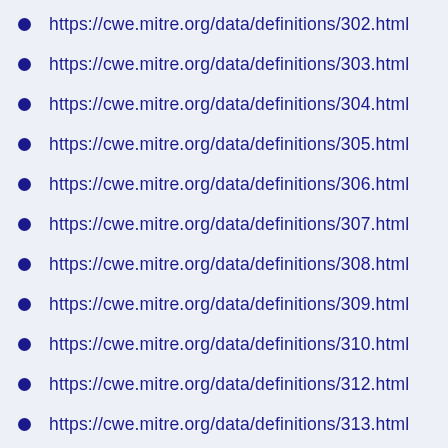https://cwe.mitre.org/data/definitions/302.html
https://cwe.mitre.org/data/definitions/303.html
https://cwe.mitre.org/data/definitions/304.html
https://cwe.mitre.org/data/definitions/305.html
https://cwe.mitre.org/data/definitions/306.html
https://cwe.mitre.org/data/definitions/307.html
https://cwe.mitre.org/data/definitions/308.html
https://cwe.mitre.org/data/definitions/309.html
https://cwe.mitre.org/data/definitions/310.html
https://cwe.mitre.org/data/definitions/312.html
https://cwe.mitre.org/data/definitions/313.html
https://cwe.mitre.org/data/definitions/317.html